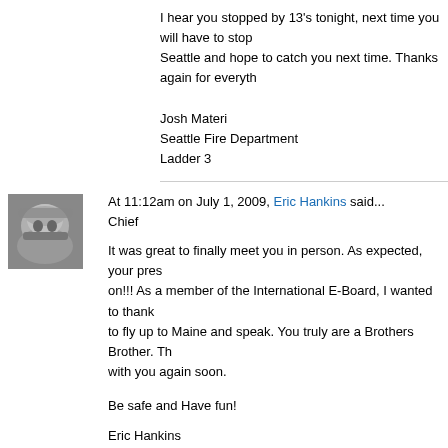I hear you stopped by 13's tonight, next time you will have to stop by. I'm here in Seattle and hope to catch you next time. Thanks again for everything.
Josh Materi
Seattle Fire Department
Ladder 3
At 11:12am on July 1, 2009, Eric Hankins said...
Chief
It was great to finally meet you in person. As expected, your presence was on!!! As a member of the International E-Board, I wanted to thank you for agreeing to fly up to Maine and speak. You truly are a Brothers Brother. The hope to connect with you again soon.

Be safe and Have fun!

Eric Hankins
Vice President
FOOLS International


P.S.
I will trim my mustache when you do Sir..... lol